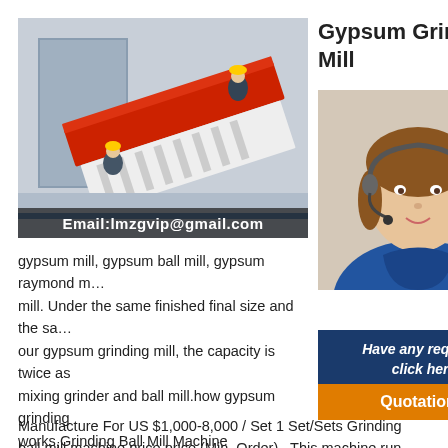[Figure (photo): Industrial machine (red and white conveyor/screening equipment) being assembled by workers in hard hats in a factory setting. Email overlay: Email:lmzgvip@gmail.com]
Gypsum Grinding Mill
[Figure (photo): 24/7 Online banner with customer service representative wearing headset]
The can gyps prov gypsum mill, gypsum ball mill, gypsum raymond mill. Under the same finished final size and the same motor power, our gypsum grinding mill, the capacity is twice as mixing grinder and ball mill.how gypsum grinding works,Grinding Ball Mill Machine Price,Bauxite Ball Mill Manufacture For US $1,000-8,000 / Set 1 Set/Sets Grinding ball mill machine price price (Min. Order) . This machine run steadily and works reliably. . Gypsum crusher and mill: In cement plant, these machines are used for crushing and grinding gypsum into Chat Online
Have any requests, click here.
Quotation